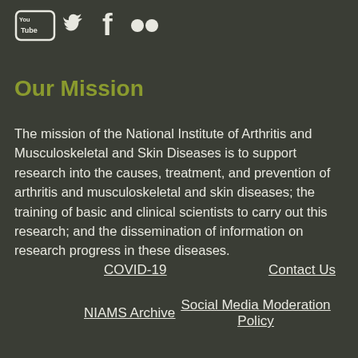[Figure (logo): Social media icons row: YouTube, Twitter (bird), Facebook (f), Flickr (two dots). White icons on dark background.]
Our Mission
The mission of the National Institute of Arthritis and Musculoskeletal and Skin Diseases is to support research into the causes, treatment, and prevention of arthritis and musculoskeletal and skin diseases; the training of basic and clinical scientists to carry out this research; and the dissemination of information on research progress in these diseases.
COVID-19
Contact Us
NIAMS Archive
Social Media Moderation Policy
FOIA
Privacy Statement